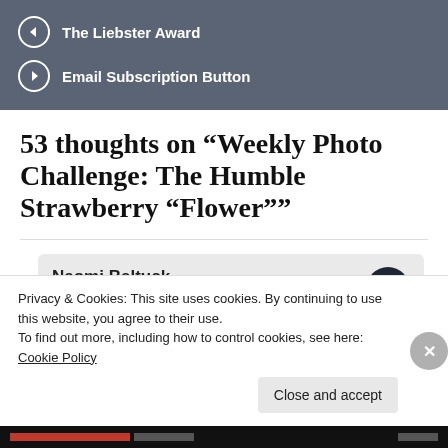The Liebster Award
Email Subscription Button
53 thoughts on “Weekly Photo Challenge: The Humble Strawberry “Flower””
Naomi Baltuck
August 6, 2012 at 8:42 am
Privacy & Cookies: This site uses cookies. By continuing to use this website, you agree to their use.
To find out more, including how to control cookies, see here: Cookie Policy
Close and accept